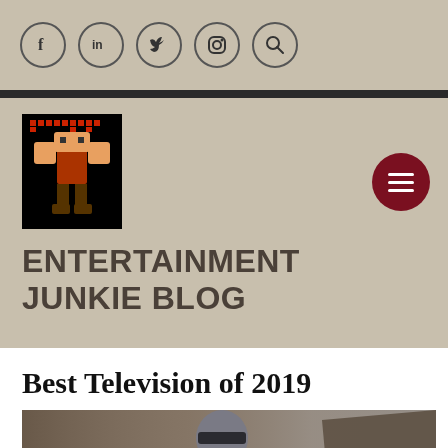[Figure (screenshot): Social media icons: Facebook, LinkedIn, Twitter, Instagram, Search in circular borders on tan background]
[Figure (logo): I'm Gonna Wreck It pixel art game logo on black background]
ENTERTAINMENT JUNKIE BLOG
[Figure (photo): Mandalorian character in metallic armor, back view with dark background]
Best Television of 2019
Follow